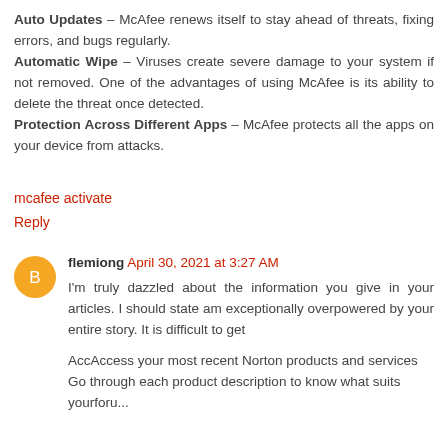Auto Updates – McAfee renews itself to stay ahead of threats, fixing errors, and bugs regularly.
Automatic Wipe – Viruses create severe damage to your system if not removed. One of the advantages of using McAfee is its ability to delete the threat once detected.
Protection Across Different Apps – McAfee protects all the apps on your device from attacks.
mcafee activate
Reply
flemiong April 30, 2021 at 3:27 AM
I'm truly dazzled about the information you give in your articles. I should state am exceptionally overpowered by your entire story. It is difficult to get
AccAccess your most recent Norton products and services Go through each product description to know what suits yourforu...